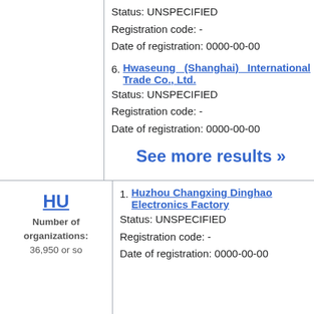Status: UNSPECIFIED
Registration code: -
Date of registration: 0000-00-00
6. Hwaseung (Shanghai) International Trade Co., Ltd.
Status: UNSPECIFIED
Registration code: -
Date of registration: 0000-00-00
See more results »
HU
Number of organizations: 36,950 or so
1. Huzhou Changxing Dinghao Electronics Factory
Status: UNSPECIFIED
Registration code: -
Date of registration: 0000-00-00